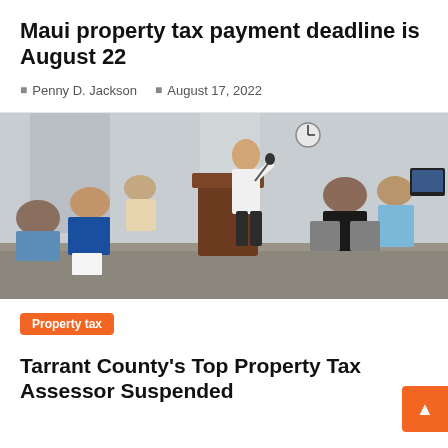Maui property tax payment deadline is August 22
Penny D. Jackson   August 17, 2022
[Figure (photo): A man in a white shirt speaks at a wooden podium in a meeting room filled with seated attendees.]
Property tax
Tarrant County's Top Property Tax Assessor Suspended